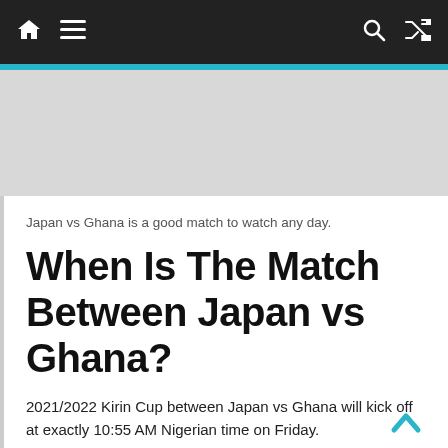Navigation bar with home, menu, search, and shuffle icons
Japan vs Ghana is a good match to watch any day.
When Is The Match Between Japan vs Ghana?
2021/2022 Kirin Cup between Japan vs Ghana will kick off at exactly 10:55 AM Nigerian time on Friday.